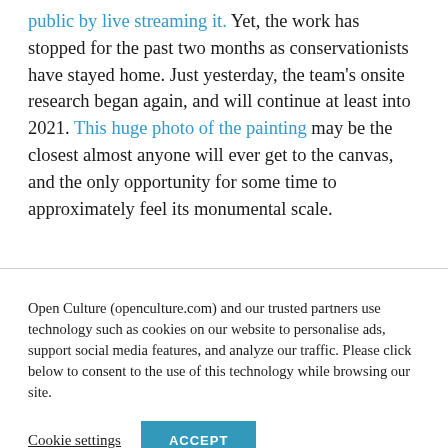public by live streaming it. Yet, the work has stopped for the past two months as conservationists have stayed home. Just yesterday, the team's onsite research began again, and will continue at least into 2021. This huge photo of the painting may be the closest almost anyone will ever get to the canvas, and the only opportunity for some time to approximately feel its monumental scale.
Open Culture (openculture.com) and our trusted partners use technology such as cookies on our website to personalise ads, support social media features, and analyze our traffic. Please click below to consent to the use of this technology while browsing our site.
Cookie settings   ACCEPT